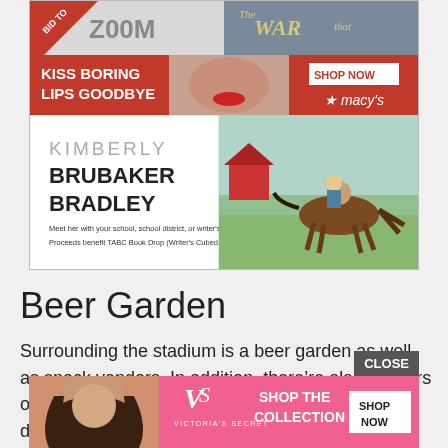[Figure (screenshot): Advertisement banner with two sections: left shows 'BID TO' ribbon and ZOOM logo; right shows book cover 'The WAR that' text on gray background]
[Figure (screenshot): Macy's advertisement banner with red background: 'KISS BORING LIPS GOODBYE' text on left, 'SHOP NOW' button and Macy's star logo on right, with model's face showing red lips]
[Figure (screenshot): Kimberly Brubaker Bradley promotional banner: author name on white left panel, horse illustration on green right panel. Text: 'Meet her with your school, school district, or writer's group! Proceeds benefit TABC Book Drop (Writer's Cubed, a 501c3).']
Beer Garden
Surrounding the stadium is a beer garden as well as snack vendors.  In addition, there’re also vendors of Union Berlin merchandise.  Unlike England, drinking is permitted in the sta
[Figure (screenshot): Victoria's Secret advertisement with pink background: model photo on left, VS logo in center, 'SHOP THE COLLECTION' text, and 'SHOP NOW' button on right. CLOSE button overlay visible.]